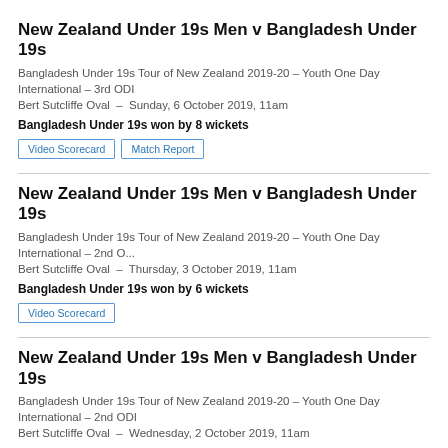New Zealand Under 19s Men v Bangladesh Under 19s
Bangladesh Under 19s Tour of New Zealand 2019-20 – Youth One Day International – 3rd ODI
Bert Sutcliffe Oval – Sunday, 6 October 2019, 11am
Bangladesh Under 19s won by 8 wickets
Video Scorecard
Match Report
New Zealand Under 19s Men v Bangladesh Under 19s
Bangladesh Under 19s Tour of New Zealand 2019-20 – Youth One Day International – 2nd O...
Bert Sutcliffe Oval – Thursday, 3 October 2019, 11am
Bangladesh Under 19s won by 6 wickets
Video Scorecard
New Zealand Under 19s Men v Bangladesh Under 19s
Bangladesh Under 19s Tour of New Zealand 2019-20 – Youth One Day International – 2nd ODI
Bert Sutcliffe Oval – Wednesday, 2 October 2019, 11am
Match Abandoned
Scorecard
New Zealand Under 19s Men v Bangladesh Under 19s